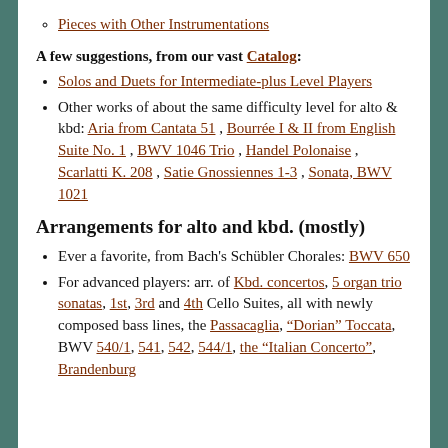Pieces with Other Instrumentations
A few suggestions, from our vast Catalog:
Solos and Duets for Intermediate-plus Level Players
Other works of about the same difficulty level for alto & kbd: Aria from Cantata 51 , Bourrée I & II from English Suite No. 1 , BWV 1046 Trio , Handel Polonaise , Scarlatti K. 208 , Satie Gnossiennes 1-3 , Sonata, BWV 1021
Arrangements for alto and kbd. (mostly)
Ever a favorite, from Bach's Schübler Chorales: BWV 650
For advanced players: arr. of Kbd. concertos, 5 organ trio sonatas, 1st, 3rd and 4th Cello Suites, all with newly composed bass lines, the Passacaglia, "Dorian" Toccata, BWV 540/1, 541, 542, 544/1, the "Italian Concerto", Brandenburg